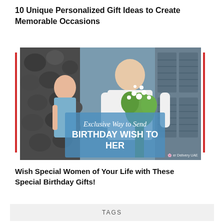10 Unique Personalized Gift Ideas to Create Memorable Occasions
[Figure (photo): A man holding flowers behind his back facing a smiling woman, with overlay text reading 'Exclusive Way to Send BIRTHDAY WISH TO HER' and a watermark 'Flower Delivery UAE']
Wish Special Women of Your Life with These Special Birthday Gifts!
TAGS